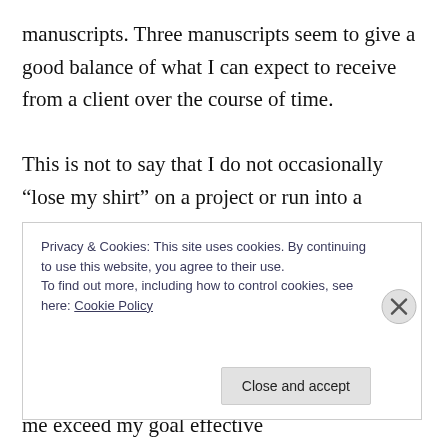manuscripts. Three manuscripts seem to give a good balance of what I can expect to receive from a client over the course of time.

This is not to say that I do not occasionally “lose my shirt” on a project or run into a manuscript that is so troublesome I would like to make the authors and the in-house production editor run with the bulls, but I can look back over my 28 years and say that the clients with whom I have stayed (and who have stayed with me) are profitable for me and let me exceed my goal effective
Privacy & Cookies: This site uses cookies. By continuing to use this website, you agree to their use.
To find out more, including how to control cookies, see here: Cookie Policy
Close and accept